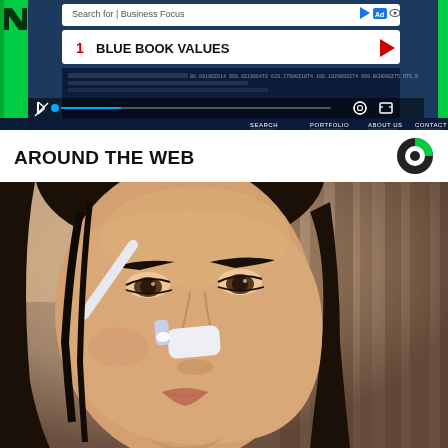[Figure (screenshot): Screenshot of a website with a dark blue background showing a news or portfolio site with a green 'N' logo. Overlay shows a search ad bar with 'Search for | Business Focus' and an ad result: '1 BLUE BOOK VALUES' with a red arrow. Below is a dark data panel and a navigation bar with SEARCH, PORTFOLIO, ABOUT US, CONTACT.]
AROUND THE WEB
[Figure (photo): Close-up photo of a dark-haired woman applying a white substance (likely a nose strip or skincare product) to her nose using what appears to be an applicator brush. The image is shot in a neutral indoor setting.]